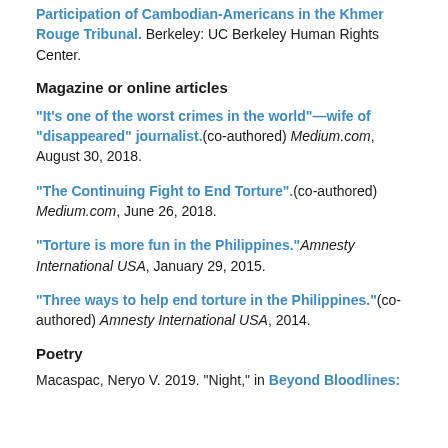Participation of Cambodian-Americans in the Khmer Rouge Tribunal. Berkeley: UC Berkeley Human Rights Center.
Magazine or online articles
“It’s one of the worst crimes in the world”—wife of “disappeared” journalist.(co-authored) Medium.com, August 30, 2018.
“The Continuing Fight to End Torture”.(co-authored) Medium.com, June 26, 2018.
“Torture is more fun in the Philippines.” Amnesty International USA, January 29, 2015.
“Three ways to help end torture in the Philippines.”(co-authored) Amnesty International USA, 2014.
Poetry
Macaspac, Neryo V. 2019. “Night,” in Beyond Bloodlines: